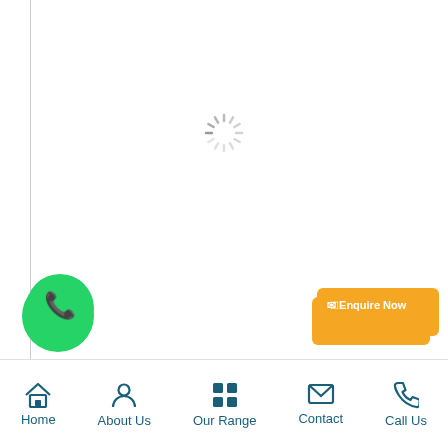[Figure (screenshot): Loading spinner (circular progress indicator) centered near the top of the page]
[Figure (screenshot): Green WhatsApp floating button with phone handset icon]
[Figure (screenshot): Yellow 'Enquire Now' button with envelope icon (top overlay)]
[Figure (screenshot): Dark teal pill-shaped 'Enquire Now' button with yellow circular envelope icon on left]
[Figure (screenshot): Yellow scroll-to-top circle button with upward chevron arrow]
wned for offering durable and highly-efficient door frame metal detectors in
Home   About Us   Our Range   Contact   Call Us